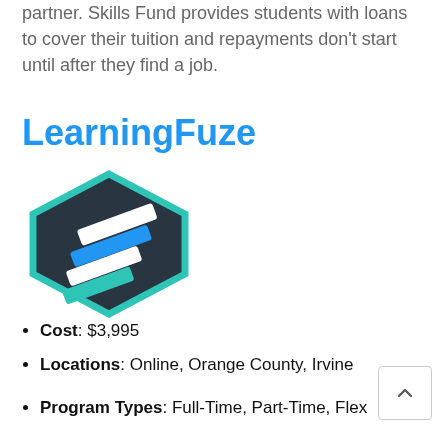partner. Skills Fund provides students with loans to cover their tuition and repayments don't start until after they find a job.
LearningFuze
[Figure (logo): LearningFuze logo: dark hexagon with teal border containing diagonal white and blue/teal bar stripes]
Cost: $3,995
Locations: Online, Orange County, Irvine
Program Types: Full-Time, Part-Time, Flex